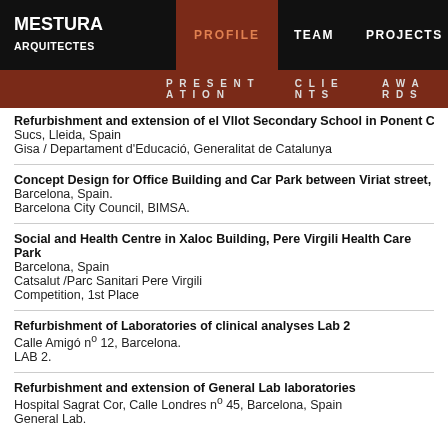MESTURA ARQUITECTES — PROFILE | TEAM | PROJECTS | PUBL
PRESENTATION | CLIENTS | AWARDS
Refurbishment and extension of el Vllot Secondary School in Ponent Count
Sucs, Lleida, Spain
Gisa / Departament d'Educació, Generalitat de Catalunya
Concept Design for Office Building and Car Park between Viriat street, Enri
Barcelona, Spain.
Barcelona City Council, BIMSA.
Social and Health Centre in Xaloc Building, Pere Virgili Health Care Park
Barcelona, Spain
Catsalut /Parc Sanitari Pere Virgili
Competition, 1st Place
Refurbishment of Laboratories of clinical analyses Lab 2
Calle Amigó nº 12, Barcelona.
LAB 2.
Refurbishment and extension of General Lab laboratories
Hospital Sagrat Cor, Calle Londres nº 45, Barcelona, Spain
General Lab.